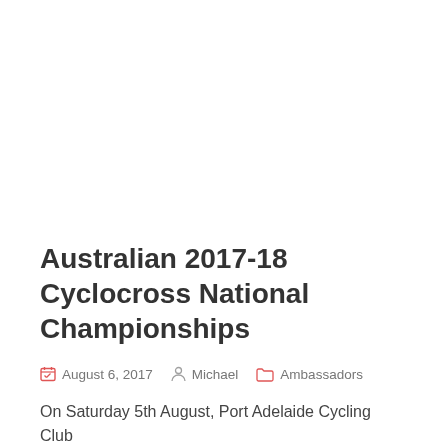Australian 2017-18 Cyclocross National Championships
August 6, 2017   Michael   Ambassadors
On Saturday 5th August, Port Adelaide Cycling Club